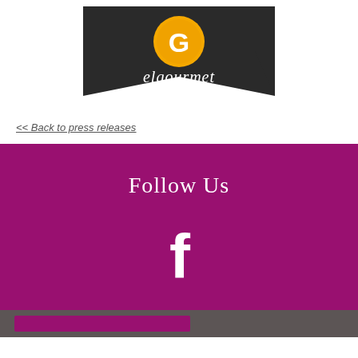[Figure (logo): elgourmet logo: dark banner/pennant shape with a gold circle containing a white 'G' and the word 'elgourmet' in white script below]
<< Back to press releases
Follow Us
[Figure (other): Facebook icon (white 'f' on magenta/purple background)]